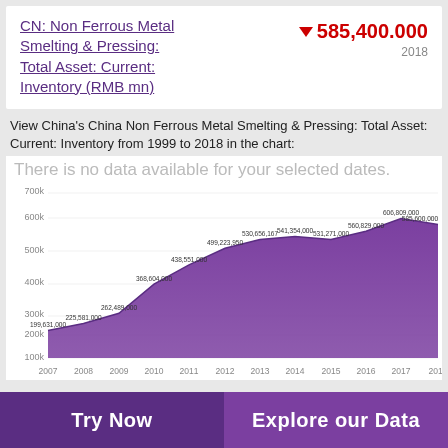CN: Non Ferrous Metal Smelting & Pressing: Total Asset: Current: Inventory (RMB mn)
▼ 585,400.000
2018
View China's China Non Ferrous Metal Smelting & Pressing: Total Asset: Current: Inventory from 1999 to 2018 in the chart:
There is no data available for your selected dates.
[Figure (area-chart): CN: Non Ferrous Metal Smelting & Pressing: Total Asset: Current: Inventory]
Try Now
Explore our Data